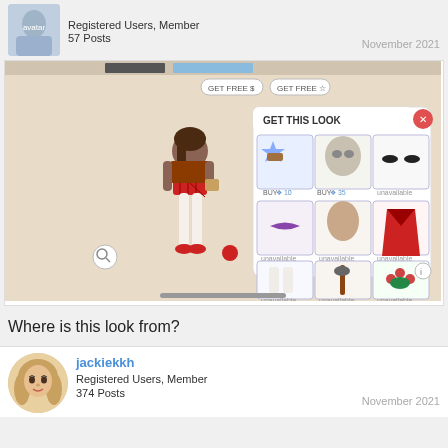Registered Users, Member
57 Posts
November 2021
[Figure (screenshot): Game screenshot showing a dressed avatar character in a red plaid outfit with a 'GET THIS LOOK' overlay panel showing clothing items for purchase, some marked 'unavailable', others with BUY prices of 10 and 35 coins.]
Where is this look from?
jackiekkh
Registered Users, Member
374 Posts
November 2021